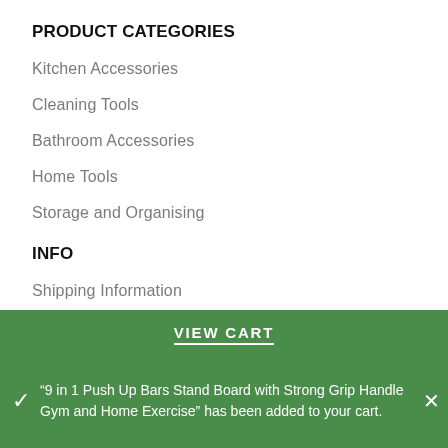PRODUCT CATEGORIES
Kitchen Accessories
Cleaning Tools
Bathroom Accessories
Home Tools
Storage and Organising
INFO
Shipping Information
Terms & Conditions
VIEW CART
"9 in 1 Push Up Bars Stand Board with Strong Grip Handle Gym and Home Exercise" has been added to your cart.